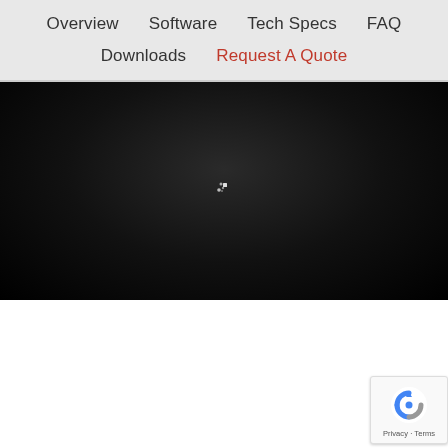Overview  Software  Tech Specs  FAQ  Downloads  Request A Quote
[Figure (screenshot): Dark panel with loading spinner dots in the center, representing a video or interactive content area that is loading]
[Figure (logo): Google reCAPTCHA badge in the bottom right corner with Privacy and Terms links]